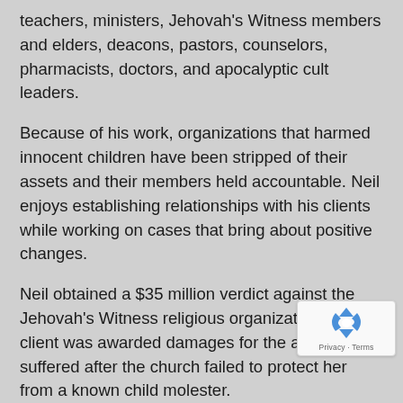teachers, ministers, Jehovah's Witness members and elders, deacons, pastors, counselors, pharmacists, doctors, and apocalyptic cult leaders.
Because of his work, organizations that harmed innocent children have been stripped of their assets and their members held accountable. Neil enjoys establishing relationships with his clients while working on cases that bring about positive changes.
Neil obtained a $35 million verdict against the Jehovah's Witness religious organization.  His client was awarded damages for the abuse she suffered after the church failed to protect her from a known child molester.
Neil represented the child brides of Tony Al… televangelist and cult leader.  Two documentaries